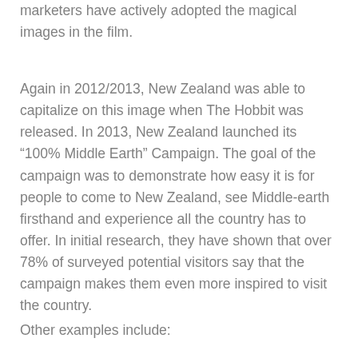marketers have actively adopted the magical images in the film.
Again in 2012/2013, New Zealand was able to capitalize on this image when The Hobbit was released. In 2013, New Zealand launched its “100% Middle Earth” Campaign. The goal of the campaign was to demonstrate how easy it is for people to come to New Zealand, see Middle-earth firsthand and experience all the country has to offer. In initial research, they have shown that over 78% of surveyed potential visitors say that the campaign makes them even more inspired to visit the country.
Other examples include: